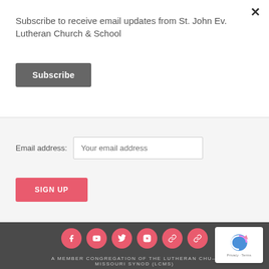Subscribe to receive email updates from St. John Ev. Lutheran Church & School
Subscribe
Email address: Your email address
SIGN UP
[Figure (infographic): Social media icons row: Facebook, YouTube, Twitter, Instagram, and two others, all as white icons on red/pink circles]
A MEMBER CONGREGATION OF THE LUTHERAN CHU— MISSOURI SYNOD (LCMS)